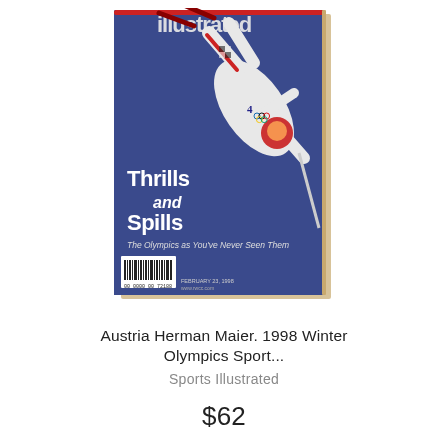[Figure (photo): Sports Illustrated magazine cover featuring an Austrian skier (Herman Maier) mid-fall during the 1998 Winter Olympics. The cover has a blue background with the text 'Thrills and Spills – The Olympics as You've Never Seen Them'. The magazine logo 'illustrated' appears at the top. A barcode is visible at the bottom left of the cover. The magazine is shown at a slight angle as a product photo.]
Austria Herman Maier. 1998 Winter Olympics Sport...
Sports Illustrated
$62